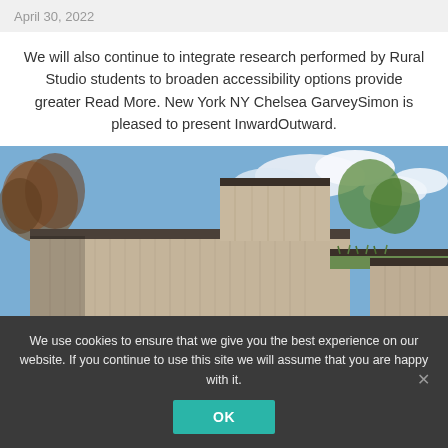April 30, 2022
We will also continue to integrate research performed by Rural Studio students to broaden accessibility options provide greater Read More. New York NY Chelsea GarveySimon is pleased to present InwardOutward.
[Figure (photo): Exterior photograph of a modern wood-clad building with vertical cedar siding, a green sedum roof, and surrounding trees against a blue sky with clouds.]
We use cookies to ensure that we give you the best experience on our website. If you continue to use this site we will assume that you are happy with it.